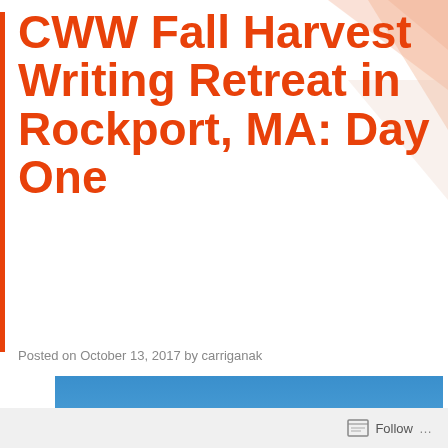CWW Fall Harvest Writing Retreat in Rockport, MA: Day One
Posted on October 13, 2017 by carriganak
[Figure (photo): Photograph of Rockport, MA harbor on a clear sunny day. Blue sky, sailboats and small vessels docked at a stone pier, rocky coastline with town visible in the background.]
Follow